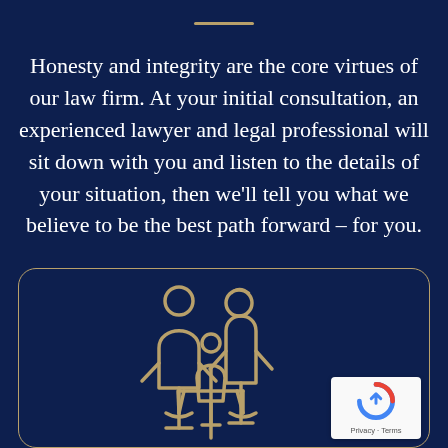Honesty and integrity are the core virtues of our law firm. At your initial consultation, an experienced lawyer and legal professional will sit down with you and listen to the details of your situation, then we'll tell you what we believe to be the best path forward – for you.
[Figure (illustration): Gold outline icon of two adults and a child with a scales of justice icon, representing a law firm family legal services illustration. Set inside a rounded-rectangle card with a gold border on a dark navy background.]